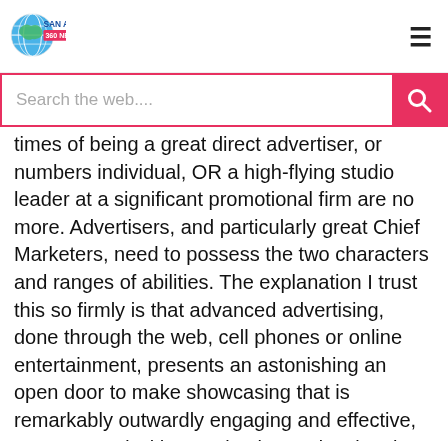San Antonio 360 News
times of being a great direct advertiser, or numbers individual, OR a high-flying studio leader at a significant promotional firm are no more. Advertisers, and particularly great Chief Marketers, need to possess the two characters and ranges of abilities. The explanation I trust this so firmly is that advanced advertising, done through the web, cell phones or online entertainment, presents an astonishing an open door to make showcasing that is remarkably outwardly engaging and effective, yet saturated with examination and estimation. I'm not just alluding to impressions, snaps or deals. The capacity to gauge how individuals cooperate with your ad, their thought process of it and what occurs after they connect with it exists more than ever, and as innovation develops considerably more, math, science and inventiveness will cross on a lot more